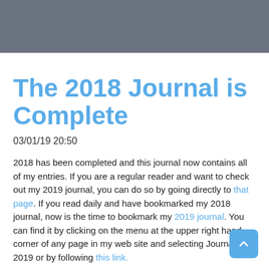The 2018 Journal is Complete
03/01/19 20:50
2018 has been completed and this journal now contains all of my entries. If you are a regular reader and want to check out my 2019 journal, you can do so by going directly to that page. If you read daily and have bookmarked my 2018 journal, now is the time to bookmark my 2019 journal. You can find it by clicking on the menu at the upper right hand corner of any page in my web site and selecting Journal 2019 or by following this link.